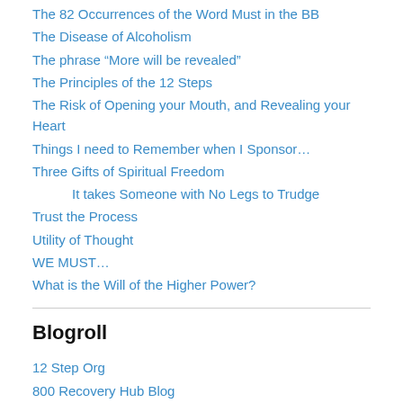The 82 Occurrences of the Word Must in the BB
The Disease of Alcoholism
The phrase “More will be revealed”
The Principles of the 12 Steps
The Risk of Opening your Mouth, and Revealing your Heart
Things I need to Remember when I Sponsor…
Three Gifts of Spiritual Freedom
It takes Someone with No Legs to Trudge
Trust the Process
Utility of Thought
WE MUST…
What is the Will of the Higher Power?
Blogroll
12 Step Org
800 Recovery Hub Blog
A WORKING MYTHOLOGY ~ My own understanding
AA Online 01